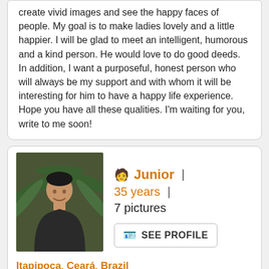create vivid images and see the happy faces of people. My goal is to make ladies lovely and a little happier. I will be glad to meet an intelligent, humorous and a kind person. He would love to do good deeds. In addition, I want a purposeful, honest person who will always be my support and with whom it will be interesting for him to have a happy life experience. Hope you have all these qualities. I'm waiting for you, write to me soon!
[Figure (photo): Profile photo of Junior, a man in a black shirt standing in front of palm trees]
Junior | 35 years | 7 pictures
SEE PROFILE
Itapipoca, Ceará, Brazil
looking for: women